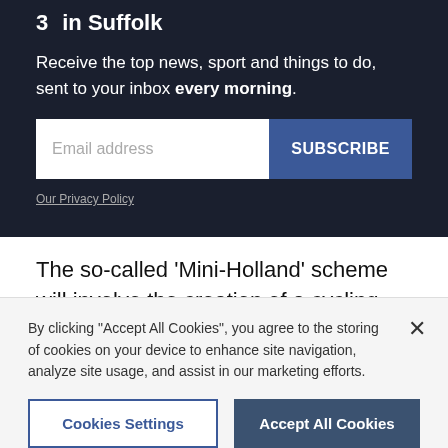3   in Suffolk
Receive the top news, sport and things to do, sent to your inbox every morning.
Email address [input field] SUBSCRIBE
Our Privacy Policy
The so-called 'Mini-Holland' scheme will involve the creation of a cycling network around the town with the
By clicking "Accept All Cookies", you agree to the storing of cookies on your device to enhance site navigation, analyze site usage, and assist in our marketing efforts.
Cookies Settings   Accept All Cookies